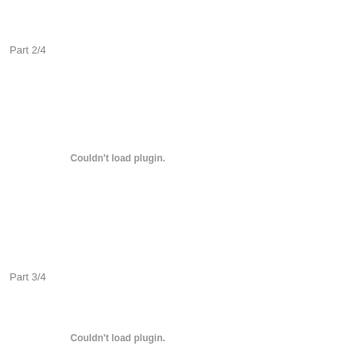Part 2/4
Couldn't load plugin.
Part 3/4
Couldn't load plugin.